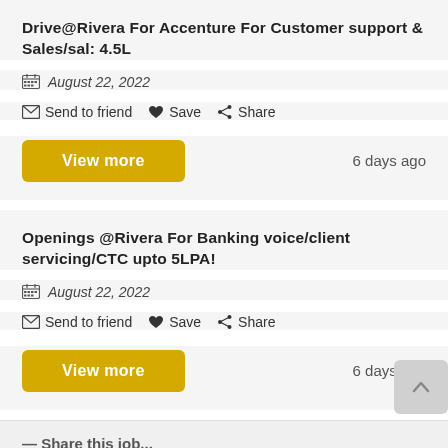Drive@Rivera For Accenture For Customer support & Sales/sal: 4.5L
August 22, 2022
Send to friend  Save  Share
View more   6 days ago
Openings @Rivera For Banking voice/client servicing/CTC upto 5LPA!
August 22, 2022
Send to friend  Save  Share
View more   6 days ago
Share this job...